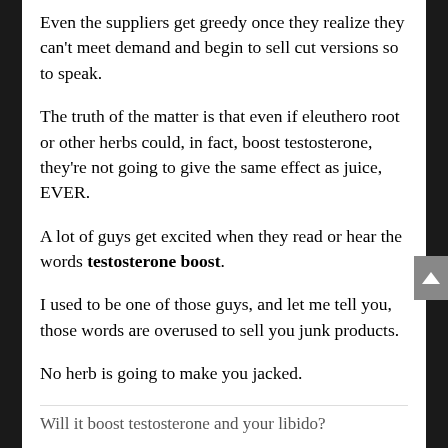Even the suppliers get greedy once they realize they can't meet demand and begin to sell cut versions so to speak.
The truth of the matter is that even if eleuthero root or other herbs could, in fact, boost testosterone, they're not going to give the same effect as juice, EVER.
A lot of guys get excited when they read or hear the words testosterone boost.
I used to be one of those guys, and let me tell you, those words are overused to sell you junk products.
No herb is going to make you jacked.
Will it boost testosterone and your libido?